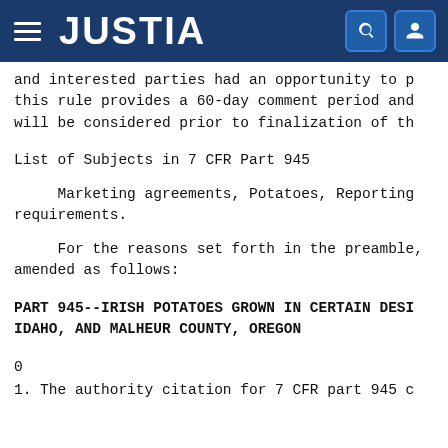JUSTIA
and interested parties had an opportunity to p this rule provides a 60-day comment period and will be considered prior to finalization of th
List of Subjects in 7 CFR Part 945
Marketing agreements, Potatoes, Reporting requirements.
For the reasons set forth in the preamble, amended as follows:
PART 945--IRISH POTATOES GROWN IN CERTAIN DESI IDAHO, AND MALHEUR COUNTY, OREGON
0
1. The authority citation for 7 CFR part 945 c